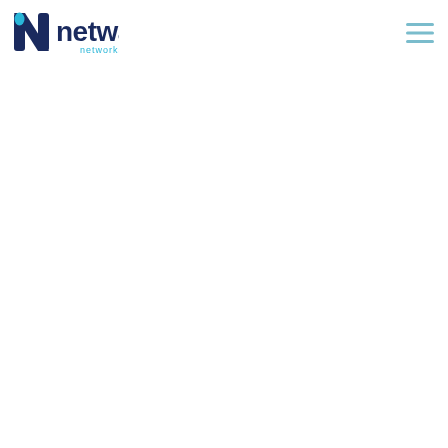[Figure (logo): Netway Networks logo with stylized N icon in blue and cyan, followed by 'netway' in dark navy bold text and 'networks' in smaller teal text below]
[Figure (other): Hamburger menu icon with three horizontal teal/light blue lines on the right side of the header]